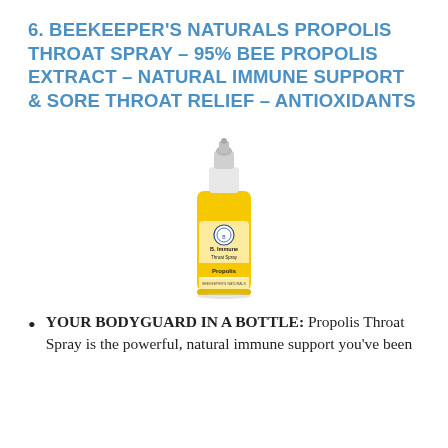6. BEEKEEPER'S NATURALS PROPOLIS THROAT SPRAY – 95% BEE PROPOLIS EXTRACT – NATURAL IMMUNE SUPPORT & SORE THROAT RELIEF – ANTIOXIDANTS
[Figure (photo): A small yellow spray bottle of Beekeeper's Naturals B. Immune Throat Spray Propolis product]
YOUR BODYGUARD IN A BOTTLE: Propolis Throat Spray is the powerful, natural immune support you've been looking for.